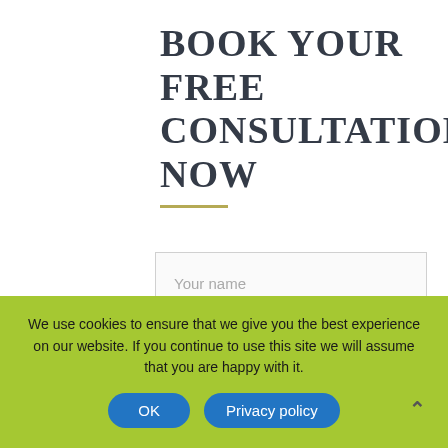BOOK YOUR FREE CONSULTATION NOW
Your name
Your telephone
Your email
SEND CONTACTS
We use cookies to ensure that we give you the best experience on our website. If you continue to use this site we will assume that you are happy with it.
OK
Privacy policy